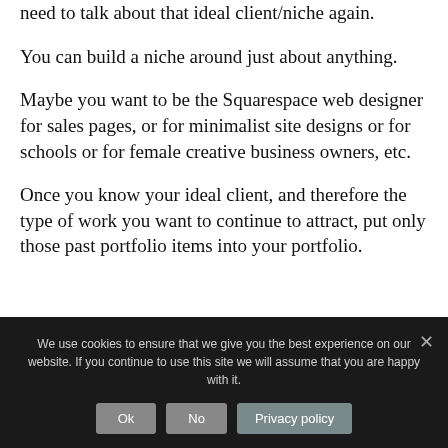need to talk about that ideal client/niche again.
You can build a niche around just about anything.
Maybe you want to be the Squarespace web designer for sales pages, or for minimalist site designs or for schools or for female creative business owners, etc.
Once you know your ideal client, and therefore the type of work you want to continue to attract, put only those past portfolio items into your portfolio.
We use cookies to ensure that we give you the best experience on our website. If you continue to use this site we will assume that you are happy with it.